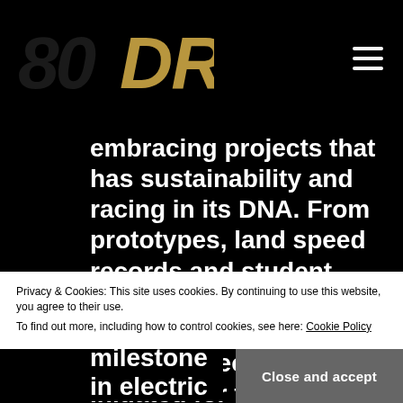80DR logo and navigation menu
embracing projects that has sustainability and racing in its DNA. From prototypes, land speed records and student races to a full-size single seat championship. These projects are not initiated for fun: but to show the world
Privacy & Cookies: This site uses cookies. By continuing to use this website, you agree to their use.
To find out more, including how to control cookies, see here: Cookie Policy
Close and accept
A milestone in electric